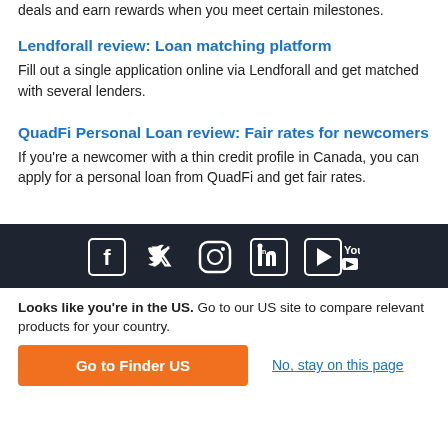deals and earn rewards when you meet certain milestones.
Lendforall review: Loan matching platform
Fill out a single application online via Lendforall and get matched with several lenders.
QuadFi Personal Loan review: Fair rates for newcomers
If you’re a newcomer with a thin credit profile in Canada, you can apply for a personal loan from QuadFi and get fair rates.
[Figure (infographic): Dark footer bar with social media icons: Facebook, Twitter, Instagram, LinkedIn, YouTube]
Looks like you’re in the US. Go to our US site to compare relevant products for your country.
Go to Finder US
No, stay on this page